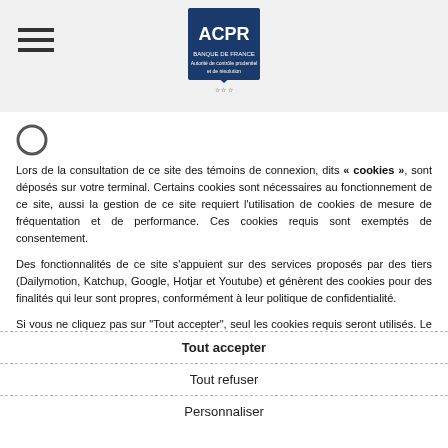ACPR Banque de France logo header
Lors de la consultation de ce site des témoins de connexion, dits « cookies », sont déposés sur votre terminal. Certains cookies sont nécessaires au fonctionnement de ce site, aussi la gestion de ce site requiert l'utilisation de cookies de mesure de fréquentation et de performance. Ces cookies requis sont exemptés de consentement.
Des fonctionnalités de ce site s'appuient sur des services proposés par des tiers (Dailymotion, Katchup, Google, Hotjar et Youtube) et génèrent des cookies pour des finalités qui leur sont propres, conformément à leur politique de confidentialité.
Si vous ne cliquez pas sur "Tout accepter", seul les cookies requis seront utilisés. Le module de gestion des cookies vous permet de donner ou de retirer votre consentement, soit globalement soit finalité par finalité. Vous pouvez retrouver ce module à tout moment en cliquant sur l'onglet "Centre de confidentialité" en bas de page. Vos préférences sont conservées pour une durée de 6 mois. Elles ne sont pas cédées à des tiers ni utilisées à d'autres fins.
Tout accepter
Tout refuser
Personnaliser